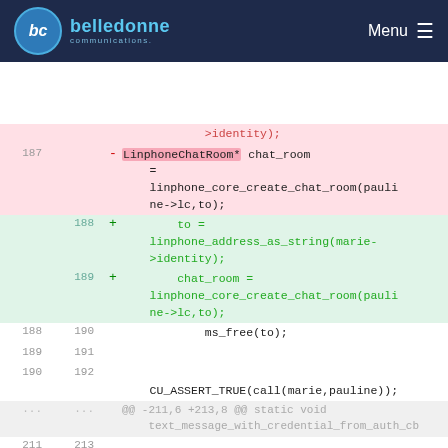belledonne communications — Menu
[Figure (screenshot): Code diff view showing changes to linphone chat room creation code. Lines 187 removed (LinphoneChatRoom* chat_room = linphone_core_create_chat_room(pauline->lc,to);), lines 188-189 added (to = linphone_address_as_string(marie->identity); chat_room = linphone_core_create_chat_room(pauline->lc,to);). Context lines 188-192 show ms_free(to); and CU_ASSERT_TRUE(call(marie,pauline));. Meta line @@ -211,6 +213,8 @@ static void text_message_with_credential_from_auth_cb. Lines 211-215 shown with static void.]